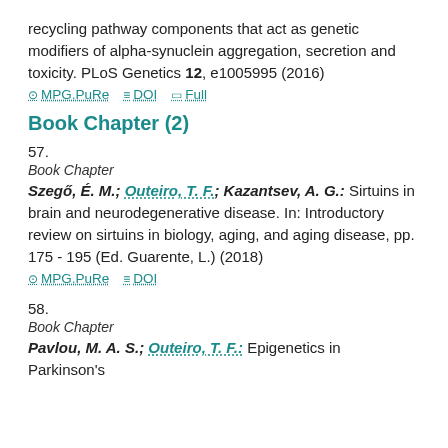recycling pathway components that act as genetic modifiers of alpha-synuclein aggregation, secretion and toxicity. PLoS Genetics 12, e1005995 (2016)
MPG.PuRe   DOI   Full
Book Chapter (2)
57.
Book Chapter
Szegő, É. M.; Outeiro, T. F.; Kazantsev, A. G.: Sirtuins in brain and neurodegenerative disease. In: Introductory review on sirtuins in biology, aging, and aging disease, pp. 175 - 195 (Ed. Guarente, L.) (2018)
MPG.PuRe   DOI
58.
Book Chapter
Pavlou, M. A. S.; Outeiro, T. F.: Epigenetics in Parkinson's